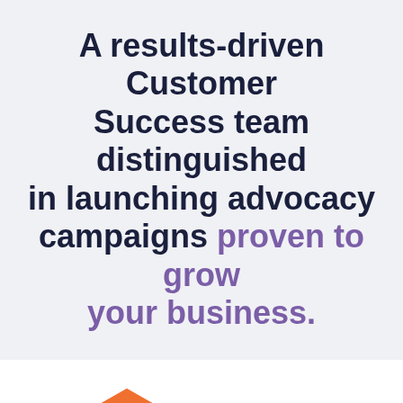A results-driven Customer Success team distinguished in launching advocacy campaigns proven to grow your business.
[Figure (infographic): Orange hexagon badge with white bold text '250+' representing 250+ satisfied customers]
Satisfied Customers